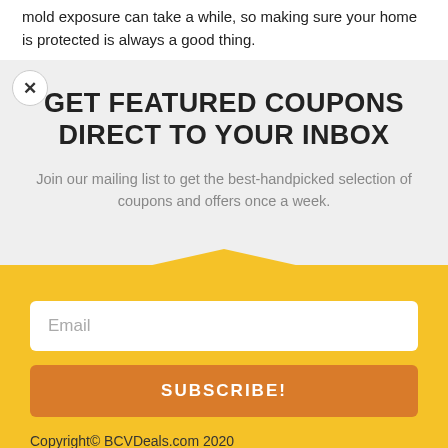mold exposure can take a while, so making sure your home is protected is always a good thing.
[Figure (screenshot): Modal popup overlay with close (x) button and faded background text reading 'to be eco-friendly and sustainable']
GET FEATURED COUPONS DIRECT TO YOUR INBOX
Join our mailing list to get the best-handpicked selection of coupons and offers once a week.
Email
SUBSCRIBE!
Copyright© BCVDeals.com 2020